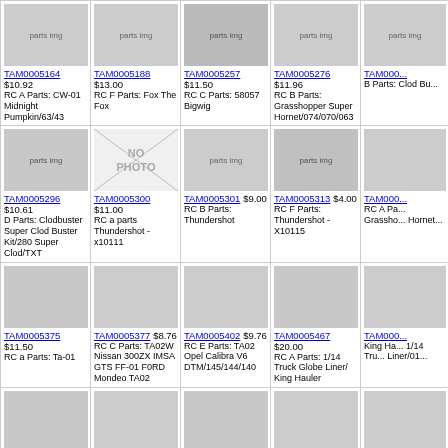| TAM0005164 $10.92 RC A Parts: CW-01 Midnight Pumpkin/63/43 | TAM0005188 $13.00 RC F Parts: Fox The Fox | TAM0005257 $11.50 RC C Parts: 58057 Bigwig | TAM0005276 $11.96 RC B Parts: Grasshopper Super Hornet/074/070/063 | TAM000... B Parts: Clod Bu... |
| TAM0005296 $10.61 D Parts: Clodbuster Super Clod Buster Kit/280 Super Clod/TXT | TAM0005300 $11.00 RC a parts Thundershot - x10111 | TAM0005301 $9.00 RC B Parts: Thundershot | TAM0005313 $4.00 RC F Parts: Thundershot - X10115 | TAM000... RC A Pa... Grassho... Hornet... |
| TAM0005375 $11.50 RC a Parts: Ta-01 | TAM0005377 $8.76 RC C Parts: TA02W Nissan 300ZX IMSA GTS FF-01 F0RD Mondeo TA02 | TAM0005402 $9.76 RC E Parts: TA02 Opel Calibra V6 DTM/145/144/140 | TAM0005467 $20.00 RC A Parts: 1/14 Truck Globe Liner/ King Hauler | TAM000... King Ha... 1/14 Tru... Liner/01... |
| TAM0005473 $19.00 RC G Parts: 1/14 Truck Globe Liner/ King Hauler/56523 for all 1: | TAM0005500 $18.03 RC B Parts: 1/14 Truck Flatbed Semi-Trailer for R/C Tractor Truc | TAM0005501 $19.00 RC C Parts: 56306/56303/56302 | TAM0005519 $18.52 RC A Parts: CC-01 (XC) Honda CR-V Sport Utility/166/152/141 | TAM000... RC B P... (XC) Ho... Sport Utility/1... |